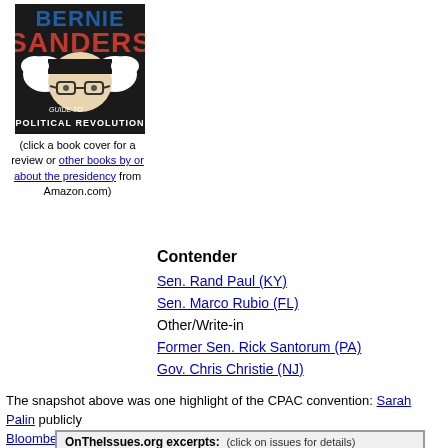[Figure (illustration): Bernie Sanders Guide to Political Revolution book cover with stylized illustration of Bernie Sanders with white hair and glasses]
(click a book cover for a review or other books by or about the presidency from Amazon.com)
Contender
Sen. Rand Paul (KY)
Sen. Marco Rubio (FL)
Other/Write-in
Former Sen. Rick Santorum (PA)
Gov. Chris Christie (NJ)
Rep. Paul Ryan (WI)
Gov. Scott Walker (WI)
Dr. Ben Carson
Sen. Ted Cruz (TX)
Gov. Bobby Jindal (LA)
Former Gov. Sarah Palin (AK)
The snapshot above was one highlight of the CPAC convention: Sarah Palin publicly Bloomberg's attempted ban on Big Gulps and other large soft drinks. Her speech ex
OnTheIssues.org excerpts: (click on issues for details)